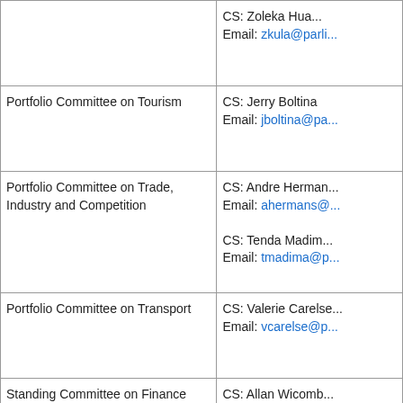| Committee | Contact |
| --- | --- |
|  | CS: Zoleka Hua...
Email: zkula@parli... |
| Portfolio Committee on Tourism | CS: Jerry Boltina
Email: jboltina@pa... |
| Portfolio Committee on Trade, Industry and Competition | CS: Andre Herman...
Email: ahermans@...

CS: Tenda Madim...
Email: tmadima@p... |
| Portfolio Committee on Transport | CS: Valerie Carelse...
Email: vcarelse@p... |
| Standing Committee on Finance | CS: Allan Wicomb...
Email: awicomb@...

CS: Teboho Separ...
Email: tsepanya@... |